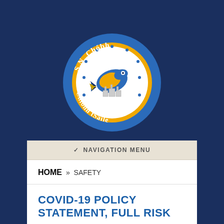[Figure (logo): S.N. Chóbh Chíonn tSáile school logo — circular blue badge with a gold/yellow ring, featuring an illustrated salmon fish in the center. Text around the circle reads 'S.N. Chóbh' at the top and 'Chíonn tSáile' at the bottom.]
✓ NAVIGATION MENU
HOME » SAFETY
COVID-19 POLICY STATEMENT, FULL RISK